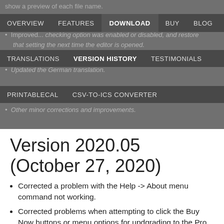OVERVIEW | FEATURES | DOWNLOAD | BUY | BLOG | SU...
TRANSLATIONS | VERSION HISTORY | TESTIMONIALS
PRINTABLECAL | CSV-TO-ICS CONVERTER
show a preview of each file name. Improved... spelling-checking option was enabled or disabled, and restore that setting the next time the editor is opened. Updated the German translation. Other minor corrections and improvements.
Version 2020.05 (October 27, 2020)
Corrected a problem with the Help -> About menu command not working.
Corrected problems when attempting to click the Buy Now buttons or menu options for updgrading to the Pro or Ultimate versions.
Version 2020.04 (October 26, 2020)